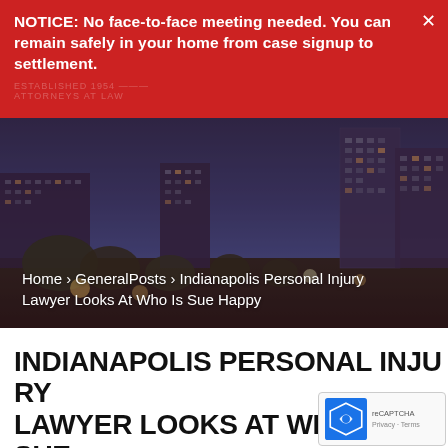NOTICE: No face-to-face meeting needed. You can remain safely in your home from case signup to settlement.
[Figure (photo): Indianapolis city skyline at dusk with buildings and trees, overlaid with a dark blue-purple tint. Breadcrumb navigation overlaid: Home › GeneralPosts › Indianapolis Personal Injury Lawyer Looks At Who Is Sue Happy]
Home › GeneralPosts › Indianapolis Personal Injury Lawyer Looks At Who Is Sue Happy
INDIANAPOLIS PERSONAL INJURY LAWYER LOOKS AT WHO IS SUE HAPPY